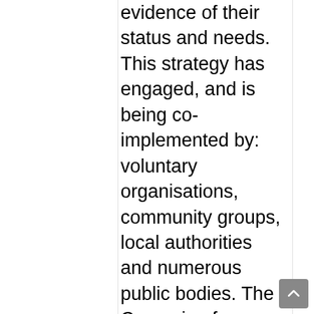evidence of their status and needs. This strategy has engaged, and is being co-implemented by: voluntary organisations, community groups, local authorities and numerous public bodies. The Campaign for Farmed Environment has provided consistent guidance on pollinator management for farm businesses, whilst Helping Pollinators Locally (2016), co-published by conservation charity Buglife, offers guidance to local authorities on the